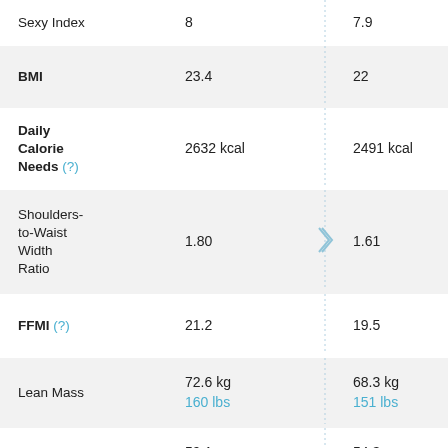| Metric | Value 1 |  | Value 2 |
| --- | --- | --- | --- |
| Sexy Index | 8 |  | 7.9 |
| BMI | 23.4 |  | 22 |
| Daily Calorie Needs (?) | 2632 kcal |  | 2491 kcal |
| Shoulders-to-Waist Width Ratio | 1.80 |  | 1.61 |
| FFMI (?) | 21.2 |  | 19.5 |
| Lean Mass | 72.6 kg / 160 lbs |  | 68.3 kg / 151 lbs |
| Shoulders Span | 59.1 cm / 23 inches |  | 54.3 cm / 21 inches |